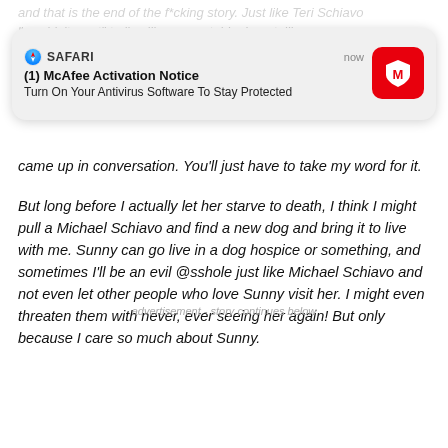and that is the end of the f*cking story. Just like Teri Schiavo "wouldn't want" to live like a vegetable, I am telling you. at anything – but I swear she back w came up in conversation. You'll just have to take my word for it.
[Figure (screenshot): iOS Safari notification overlay showing McAfee Activation Notice: Turn On Your Antivirus Software To Stay Protected]
But long before I actually let her starve to death, I think I might pull a Michael Schiavo and find a new dog and bring it to live with me. Sunny can go live in a dog hospice or something, and sometimes I'll be an evil @sshole just like Michael Schiavo and not even let other people who love Sunny visit her. I might even threaten them with never, ever seeing her again! But only because I care so much about Sunny.
advertisement - story continues below